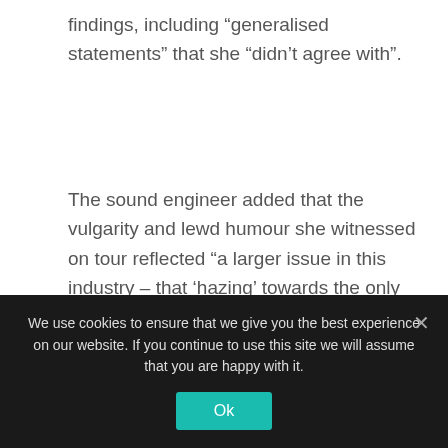findings, including “generalised statements” that she “didn’t agree with”.
The sound engineer added that the vulgarity and lewd humour she witnessed on tour reflected “a larger issue in this industry – that ‘hazing’ towards the only women on the technical crew was normal, expected, accepted and not questioned by anyone, including myself.
“I hope that this moment is a learning experience for the entire industry and that we are able to come
We use cookies to ensure that we give you the best experience on our website. If you continue to use this site we will assume that you are happy with it.